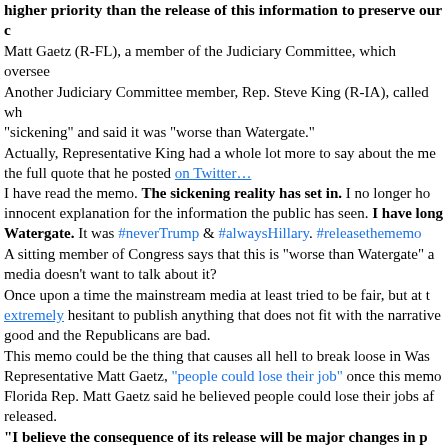higher priority than the release of this information to preserve our c
Matt Gaetz (R-FL), a member of the Judiciary Committee, which oversee
Another Judiciary Committee member, Rep. Steve King (R-IA), called wh "sickening" and said it was "worse than Watergate."
Actually, Representative King had a whole lot more to say about the mem the full quote that he posted on Twitter…
I have read the memo. The sickening reality has set in. I no longer ho innocent explanation for the information the public has seen. I have long Watergate. It was #neverTrump & #alwaysHillary. #releasethememo
A sitting member of Congress says that this is "worse than Watergate" a media doesn't want to talk about it?
Once upon a time the mainstream media at least tried to be fair, but at th extremely hesitant to publish anything that does not fit with the narrative good and the Republicans are bad.
This memo could be the thing that causes all hell to break loose in Wash Representative Matt Gaetz, "people could lose their job" once this memo Florida Rep. Matt Gaetz said he believed people could lose their jobs aft released.
"I believe the consequence of its release will be major changes in p working at the FBI and the Department of Justice," he said, referenci Rosenstein and Bruce Ohr.
"You think about, 'is this happening in America or is this the KGB?' it is," Pennsylvania Rep. Scott Perry said.
And not too long ago, U.S. Representative Jody Hice added his voice to